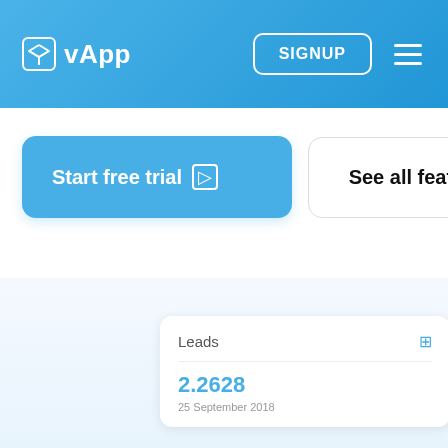vApp — SIGNUP navigation header
Start free trial
See all features
Leads
2.2628
25 September 2018